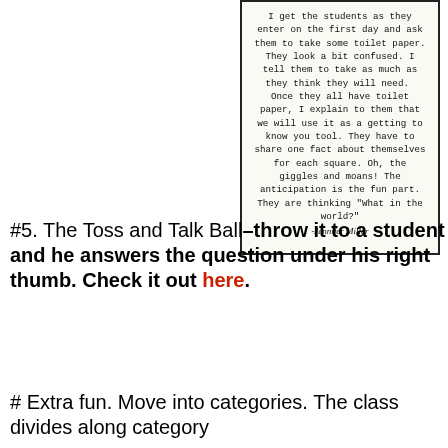[Figure (other): Handwritten-style quote in a bordered box: 'I get the students as they enter on the first day and ask them to take some toilet paper. They look a bit confused. I tell them to take as much as they think they will need. Once they all have toilet paper, I explain to them that we will use it as a getting to know you tool. They have to share one fact about themselves for each square. Oh, the giggles and moans! The anticipation is the fun part. They are thinking "What in the world?" -Jennifer Miller']
#5. The Toss and Talk Ball–throw it to a student and he answers the question under his right thumb. Check it out here.
# Extra fun. Move into categories. The class divides along category